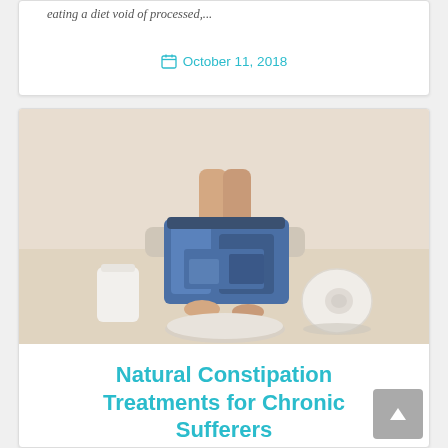eating a diet void of processed,...
October 11, 2018
[Figure (photo): A person sitting on a toilet with jeans pulled down around their ankles, with toilet paper roll on the floor beside them. A health/medical blog image relating to constipation.]
Natural Constipation Treatments for Chronic Sufferers